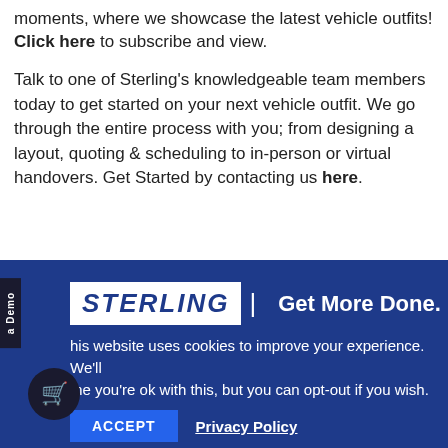moments, where we showcase the latest vehicle outfits! Click here to subscribe and view.
Talk to one of Sterling's knowledgeable team members today to get started on your next vehicle outfit. We go through the entire process with you; from designing a layout, quoting & scheduling to in-person or virtual handovers. Get Started by contacting us here.
[Figure (logo): Sterling logo with white background showing 'STERLING' in bold italic blue letters, followed by a vertical divider and 'Get More Done.' tagline in white text on dark blue background.]
This website uses cookies to improve your experience. We'll assume you're ok with this, but you can opt-out if you wish.
ACCEPT  Privacy Policy